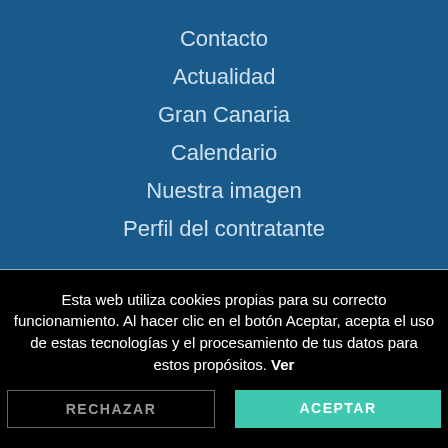Contacto
Actualidad
Gran Canaria
Calendario
Nuestra imagen
Perfil del contratante
Esta web utiliza cookies propias para su correcto funcionamiento. Al hacer clic en el botón Aceptar, acepta el uso de estas tecnologías y el procesamiento de tus datos para estos propósitos. Ver
RECHAZAR
ACEPTAR